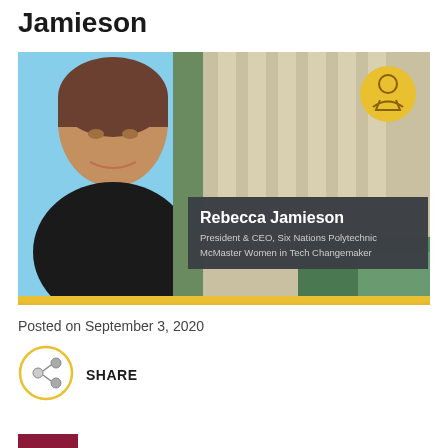Jamieson
[Figure (photo): Photo of Rebecca Jamieson with building architecture in background. Overlay text reads: Rebecca Jamieson, President & CEO, Six Nations Polytechnic, McMaster Women in Tech Changemaker. Yellow circle icon with woman silhouette in top right corner.]
Posted on September 3, 2020
[Figure (infographic): Share icon - circular share/network symbol with yellow border]
SHARE